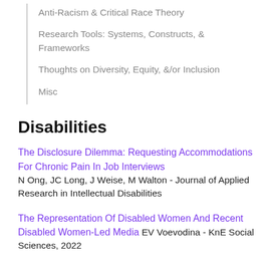Anti-Racism & Critical Race Theory
Research Tools: Systems, Constructs, & Frameworks
Thoughts on Diversity, Equity, &/or Inclusion
Misc
Disabilities
The Disclosure Dilemma: Requesting Accommodations For Chronic Pain In Job Interviews N Ong, JC Long, J Weise, M Walton - Journal of Applied Research in Intellectual Disabilities
The Representation Of Disabled Women And Recent Disabled Women-Led Media EV Voevodina - KnE Social Sciences, 2022